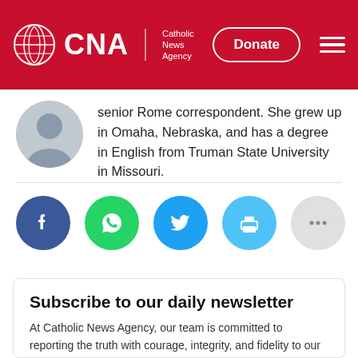CNA | Catholic News Agency — Donate
senior Rome correspondent. She grew up in Omaha, Nebraska, and has a degree in English from Truman State University in Missouri.
[Figure (infographic): Social share buttons: Facebook, WhatsApp, Twitter, Print, More (...)]
Subscribe to our daily newsletter
At Catholic News Agency, our team is committed to reporting the truth with courage, integrity, and fidelity to our faith. We provide news about the Church and the world, as seen through the teachings of the Catholic Church. When you subscribe to the CNA UPDATE, we'll send you a daily email with links to the news